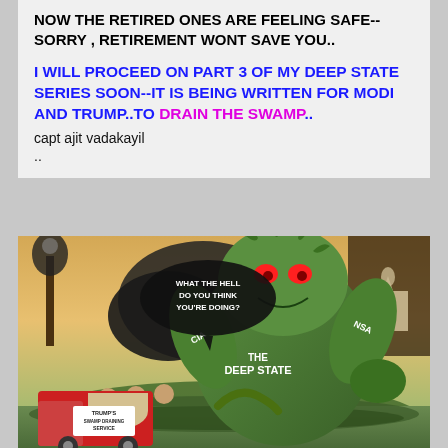NOW THE RETIRED ONES ARE FEELING SAFE-- SORRY , RETIREMENT WONT SAVE YOU..
I WILL PROCEED ON PART 3 OF MY DEEP STATE SERIES SOON--IT IS BEING WRITTEN FOR MODI AND TRUMP..TO DRAIN THE SWAMP..
capt ajit vadakayil
..
[Figure (illustration): Political cartoon showing a large green monster labeled 'THE DEEP STATE' with CIA and NSA written on its arms, rising from a swamp. A truck labeled 'TRUMP'S SWAMP DRAINING SERVICE' is in the foreground. A speech bubble says 'WHAT THE HELL DO YOU THINK YOU'RE DOING?' The US Capitol building is visible in the background.]